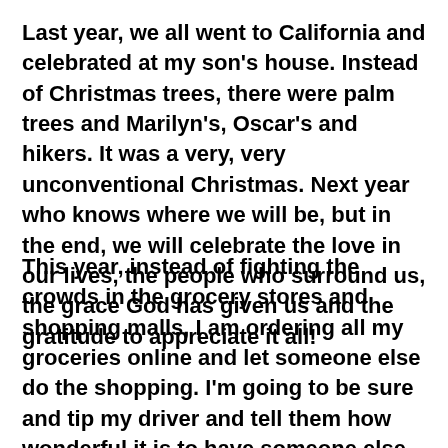Last year, we all went to California and celebrated at my son's house. Instead of Christmas trees, there were palm trees and Marilyn's, Oscar's and hikers. It was a very, very unconventional Christmas. Next year who knows where we will be, but in the end, we will celebrate the love in our lives, the people who surround us, the grace God has given us and the gratitude to appreciate it all!
This year, instead of fighting the crowds in the grocery stores and shopping malls, I am ordering all my groceries online and let someone else do the shopping. I'm going to be sure and tip my driver and tell them how wonderful it is to have someone else do the heavy lifting this year. This is already turning out to be a great Christmas...